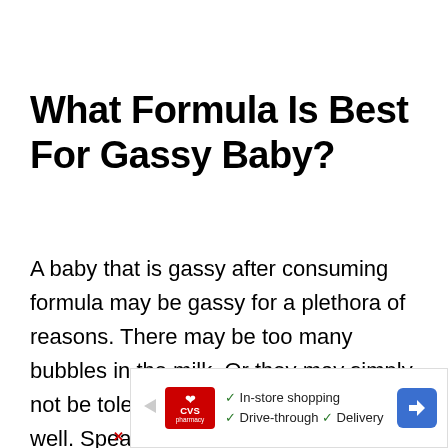What Formula Is Best For Gassy Baby?
A baby that is gassy after consuming formula may be gassy for a plethora of reasons. There may be too many bubbles in the milk. Or they may simply not be tolerating that brand of formula well. Speak to a pediatrician before changing your baby's milk diet, and be sure not to change it up too often. Allow your
[Figure (other): CVS pharmacy advertisement banner showing in-store shopping, drive-through, and delivery checkmarks with CVS logo and navigation arrow icon.]